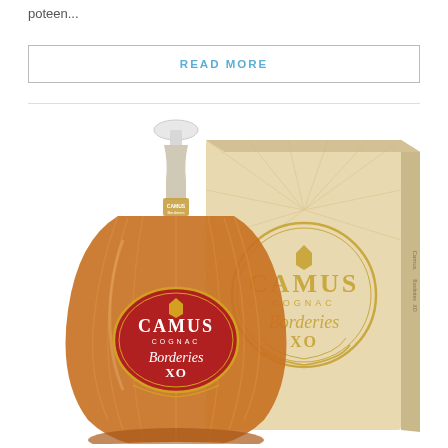poteen...
READ MORE
[Figure (photo): Camus Cognac Borderies XO bottle next to its gift box. The bottle has a distinctive wide, fluted glass body with a round red label featuring the Camus Cognac Borderies XO branding. The box is cream/gold colored with a sunburst design and a circular emblem showing CAMUS COGNAC Borderies XO with wheat motifs.]